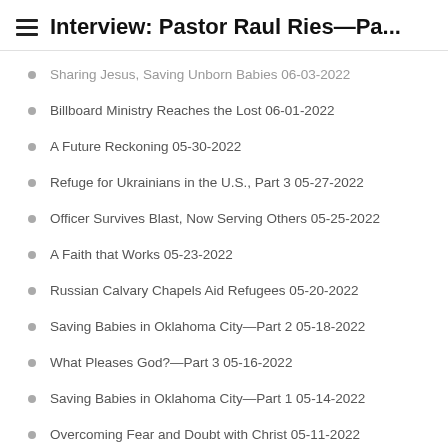Interview: Pastor Raul Ries—Pa...
Sharing Jesus, Saving Unborn Babies 06-03-2022
Billboard Ministry Reaches the Lost 06-01-2022
A Future Reckoning 05-30-2022
Refuge for Ukrainians in the U.S., Part 3 05-27-2022
Officer Survives Blast, Now Serving Others 05-25-2022
A Faith that Works 05-23-2022
Russian Calvary Chapels Aid Refugees 05-20-2022
Saving Babies in Oklahoma City—Part 2 05-18-2022
What Pleases God?—Part 3 05-16-2022
Saving Babies in Oklahoma City—Part 1 05-14-2022
Overcoming Fear and Doubt with Christ 05-11-2022
What Pleases God?—Part 2 05-09-2022
Bible Commentary Reaches Millions 05-06-2022
Sharing Jesus at Hope Central Watts, L.A. 05-04-2022